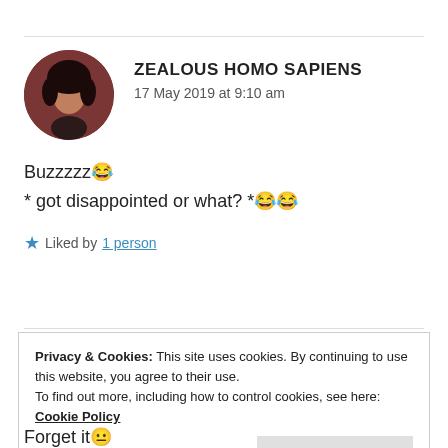ZEALOUS HOMO SAPIENS
17 May 2019 at 9:10 am
Buzzzzz😂
* got disappointed or what? *😂😂
★ Liked by 1 person
Privacy & Cookies: This site uses cookies. By continuing to use this website, you agree to their use.
To find out more, including how to control cookies, see here: Cookie Policy
Close and accept
Forget it😐